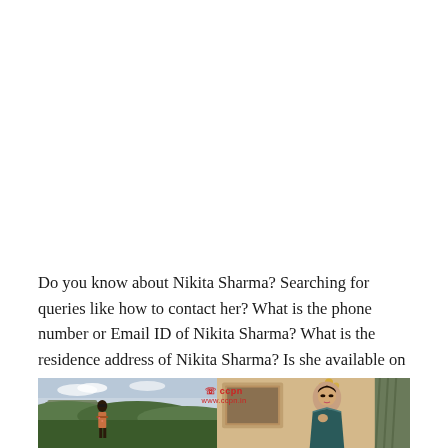Do you know about Nikita Sharma? Searching for queries like how to contact her? What is the phone number or Email ID of Nikita Sharma? What is the residence address of Nikita Sharma? Is she available on Facebook, Twitter or Instagram? Check out this article for available answers.
[Figure (photo): Two photos of Nikita Sharma side by side: left photo shows her outdoors against a scenic mountain/landscape background, right photo shows her indoors in a traditional outfit with a decorative background. A watermark logo is visible in the center.]